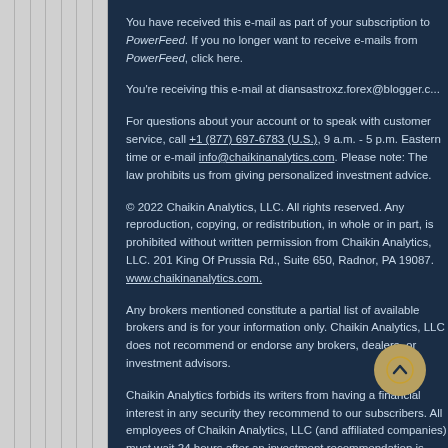You have received this e-mail as part of your subscription to PowerFeed. If you no longer want to receive e-mails from PowerFeed, click here.
You're receiving this e-mail at diansastroxz.forex@blogger.c...
For questions about your account or to speak with customer service, call +1 (877) 697-6783 (U.S.), 9 a.m. - 5 p.m. Eastern time or e-mail info@chaikinanalytics.com. Please note: The law prohibits us from giving personalized investment advice.
© 2022 Chaikin Analytics, LLC. All rights reserved. Any reproduction, copying, or redistribution, in whole or in part, is prohibited without written permission from Chaikin Analytics, LLC. 201 King Of Prussia Rd., Suite 650, Radnor, PA 19087. www.chaikinanalytics.com.
Any brokers mentioned constitute a partial list of available brokers and is for your information only. Chaikin Analytics, LLC does not recommend or endorse any brokers, dealers, or investment advisors.
Chaikin Analytics forbids its writers from having a financial interest in any security they recommend to our subscribers. All employees of Chaikin Analytics, LLC (and affiliated companies) must wait 24 hours after an investment recommendation is...